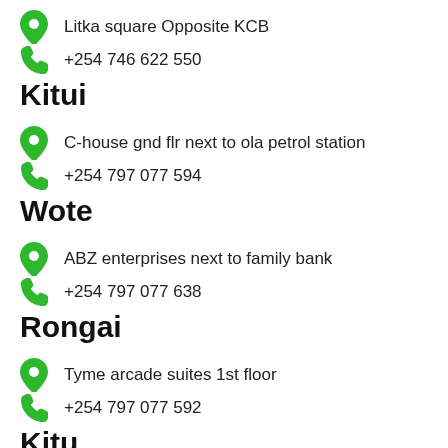📍 Litka square Opposite KCB
📞 +254 746 622 550
Kitui
📍 C-house gnd flr next to ola petrol station
📞 +254 797 077 594
Wote
📍 ABZ enterprises next to family bank
📞 +254 797 077 638
Rongai
📍 Tyme arcade suites 1st floor
📞 +254 797 077 592
Kitu...